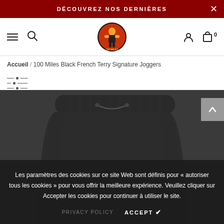DÉCOUVREZ NOS DERNIÈRES
[Figure (logo): Brand logo — circular badge with a boxing/fighter figure in red, orange, and black colors]
Accueil / 100 Miles Black French Terry Signature Joggers
[Figure (photo): Black French Terry jogger pants shown from the waist down, dark grey/black color, elasticated drawstring waistband]
Les paramètres des cookies sur ce site Web sont définis pour « autoriser tous les cookies » pour vous offrir la meilleure expérience. Veuillez cliquer sur Accepter les cookies pour continuer à utiliser le site.
PRIVACY POLICY   ACCEPT ✔